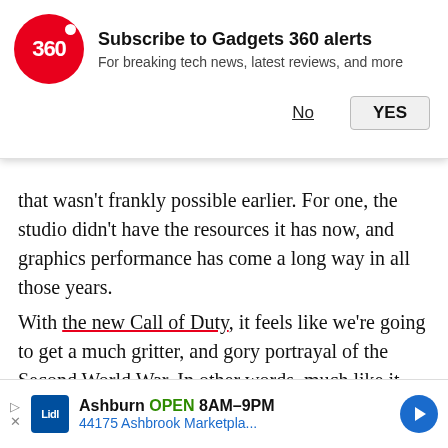Subscribe to Gadgets 360 alerts
For breaking tech news, latest reviews, and more
that wasn't frankly possible earlier. For one, the studio didn't have the resources it has now, and graphics performance has come a long way in all those years.
With the new Call of Duty, it feels like we're going to get a much gritter, and gory portrayal of the Second World War. In other words, much like it wa... involved. Of course, this being Call o... means the action will be dialled all th... There's close quarter warfare, fighti... and taking out bombers with anti-air weaponry.
[Figure (screenshot): Video thumbnail overlay showing a dark smartphone (appears to be a Lenovo/POCO device) with a red play button, partially covering the article text. A red X close button is visible in the top-left corner of the overlay.]
Ashburn OPEN 8AM–9PM
44175 Ashbrook Marketpla...